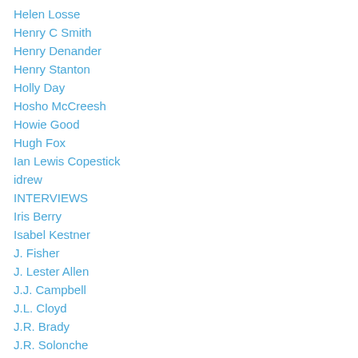Helen Losse
Henry C Smith
Henry Denander
Henry Stanton
Holly Day
Hosho McCreesh
Howie Good
Hugh Fox
Ian Lewis Copestick
idrew
INTERVIEWS
Iris Berry
Isabel Kestner
J. Fisher
J. Lester Allen
J.J. Campbell
J.L. Cloyd
J.R. Brady
J.R. Solonche
Jack Henry